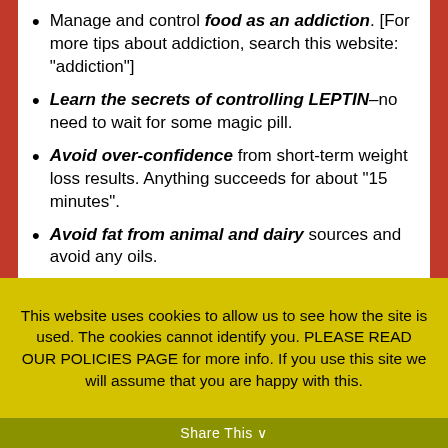Manage and control food as an addiction. [For more tips about addiction, search this website: “addiction”]
Learn the secrets of controlling LEPTIN–no need to wait for some magic pill.
Avoid over-confidence from short-term weight loss results. Anything succeeds for about “15 minutes”.
Avoid fat from animal and dairy sources and avoid any oils.
Get reasonable amounts of exercise at least 3 times a week, for the rest of your life. A brisk, 45-minute walk ought to suffice. Extreme exercise is
This website uses cookies to allow us to see how the site is used. The cookies cannot identify you. PLEASE READ OUR POLICIES PAGE for more info. If you use this site we will assume that you are happy with this.
Share This